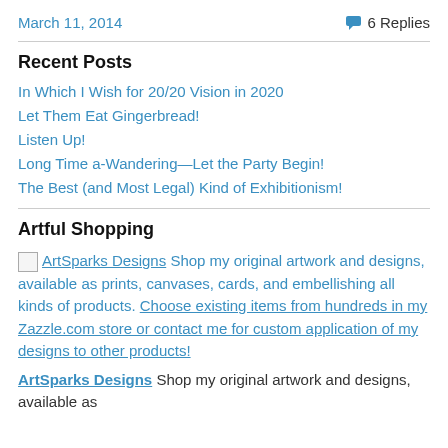March 11, 2014    6 Replies
Recent Posts
In Which I Wish for 20/20 Vision in 2020
Let Them Eat Gingerbread!
Listen Up!
Long Time a-Wandering—Let the Party Begin!
The Best (and Most Legal) Kind of Exhibitionism!
Artful Shopping
ArtSparks Designs Shop my original artwork and designs, available as prints, canvases, cards, and embellishing all kinds of products. Choose existing items from hundreds in my Zazzle.com store or contact me for custom application of my designs to other products!
ArtSparks Designs Shop my original artwork and designs, available as